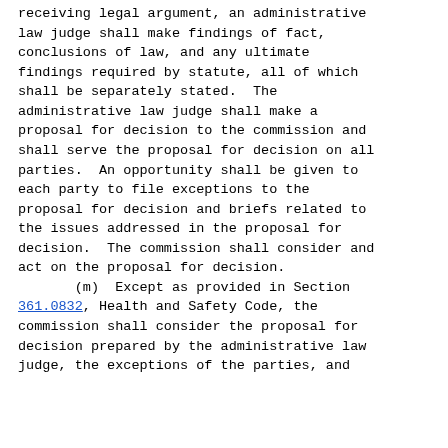receiving legal argument, an administrative law judge shall make findings of fact, conclusions of law, and any ultimate findings required by statute, all of which shall be separately stated.  The administrative law judge shall make a proposal for decision to the commission and shall serve the proposal for decision on all parties.  An opportunity shall be given to each party to file exceptions to the proposal for decision and briefs related to the issues addressed in the proposal for decision.  The commission shall consider and act on the proposal for decision.
        (m)  Except as provided in Section 361.0832, Health and Safety Code, the commission shall consider the proposal for decision prepared by the administrative law judge, the exceptions of the parties, and